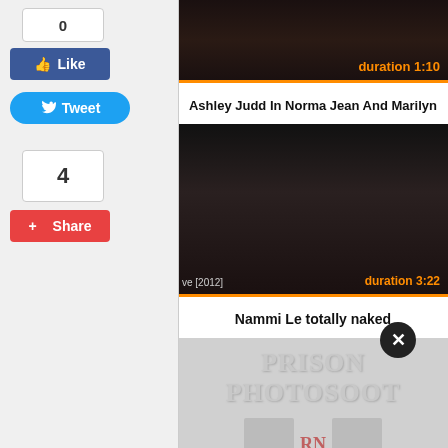[Figure (screenshot): Screenshot of a video website showing social sharing buttons (Like, Tweet, Share with counts 0 and 4), two video thumbnails with duration overlays (1:10 and 3:22), two video title bars ('Ashley Judd In Norma Jean And Marilyn' and 'Nammi Le totally naked'), a close button, and a 'Prison Photosoot' advertisement at the bottom.]